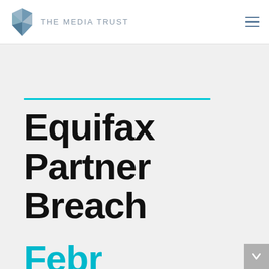THE MEDIA TRUST
Equifax Partner Breach